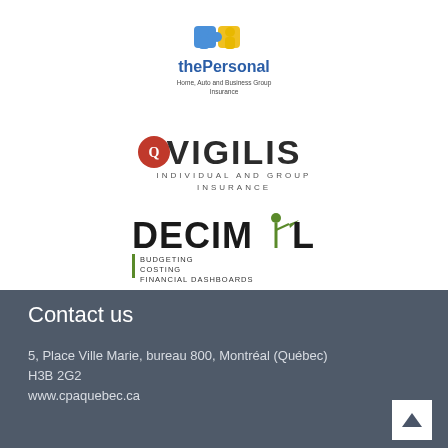[Figure (logo): thePersonal – Home, Auto and Business Group Insurance logo with puzzle piece icons in blue and yellow]
[Figure (logo): VIGILIS Individual and Group Insurance logo with red emblem]
[Figure (logo): DECIMIL – Budgeting, Costing, Financial Dashboards logo with figure holding flag]
Contact us
5, Place Ville Marie, bureau 800, Montréal (Québec)
H3B 2G2
www.cpaquebec.ca